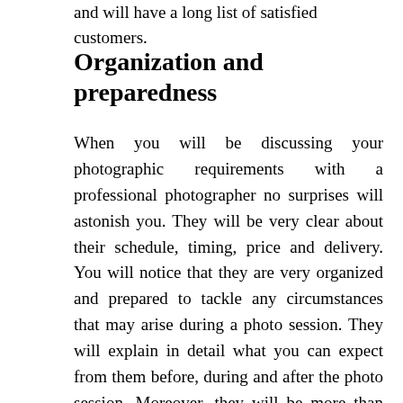and will have a long list of satisfied customers.
Organization and preparedness
When you will be discussing your photographic requirements with a professional photographer no surprises will astonish you. They will be very clear about their schedule, timing, price and delivery. You will notice that they are very organized and prepared to tackle any circumstances that may arise during a photo session. They will explain in detail what you can expect from them before, during and after the photo session. Moreover, they will be more than happy to customize their services to accommodate your budget and requirements.